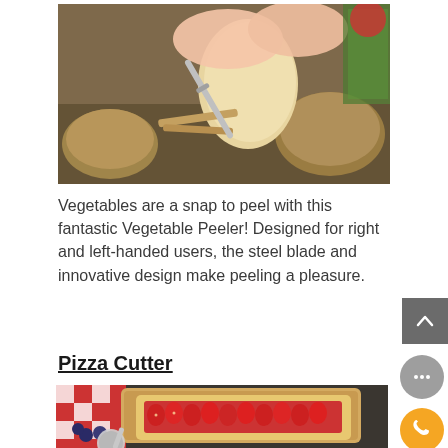[Figure (photo): Hands peeling a potato with a metal vegetable peeler on a granite countertop, surrounded by potatoes and herbs]
Vegetables are a snap to peel with this fantastic Vegetable Peeler! Designed for right and left-handed users, the steel blade and innovative design make peeling a pleasure.
Pizza Cutter
[Figure (photo): A rectangular pastry tart topped with fresh strawberries on a wooden board, with blueberries and a stainless steel pizza cutter in the foreground, on a dark granite countertop with a red and white checkered cloth]